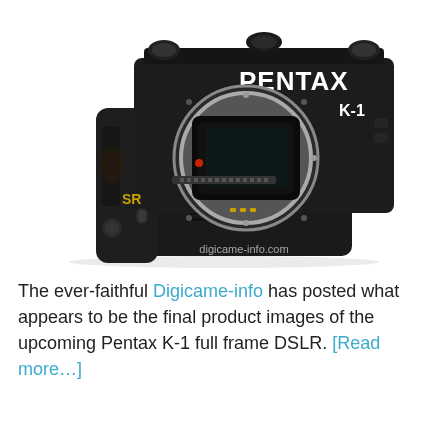[Figure (photo): Pentax K-1 full frame DSLR camera body with battery grip, front view, showing lens mount, PENTAX and K-1 branding, SR label, watermark digicame-info.com]
The ever-faithful Digicame-info has posted what appears to be the final product images of the upcoming Pentax K-1 full frame DSLR. [Read more…]